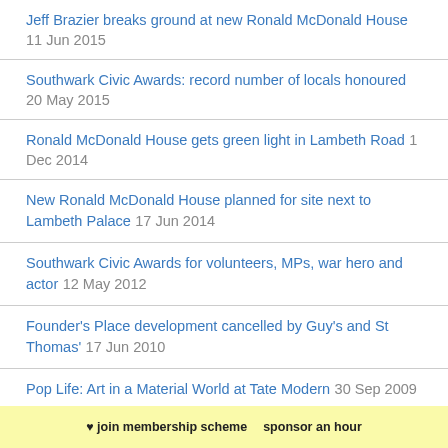Jeff Brazier breaks ground at new Ronald McDonald House 11 Jun 2015
Southwark Civic Awards: record number of locals honoured 20 May 2015
Ronald McDonald House gets green light in Lambeth Road 1 Dec 2014
New Ronald McDonald House planned for site next to Lambeth Palace 17 Jun 2014
Southwark Civic Awards for volunteers, MPs, war hero and actor 12 May 2012
Founder's Place development cancelled by Guy's and St Thomas' 17 Jun 2010
Pop Life: Art in a Material World at Tate Modern 30 Sep 2009
❤ join membership scheme   sponsor an hour